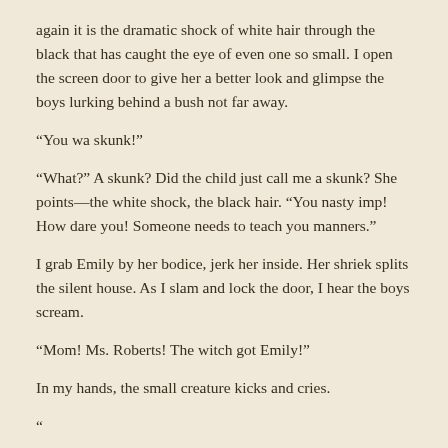again it is the dramatic shock of white hair through the black that has caught the eye of even one so small. I open the screen door to give her a better look and glimpse the boys lurking behind a bush not far away.
“You wa skunk!”
“What?” A skunk? Did the child just call me a skunk? She points—the white shock, the black hair. “You nasty imp! How dare you! Someone needs to teach you manners.”
I grab Emily by her bodice, jerk her inside. Her shriek splits the silent house. As I slam and lock the door, I hear the boys scream.
“Mom! Ms. Roberts! The witch got Emily!”
In my hands, the small creature kicks and cries.
“